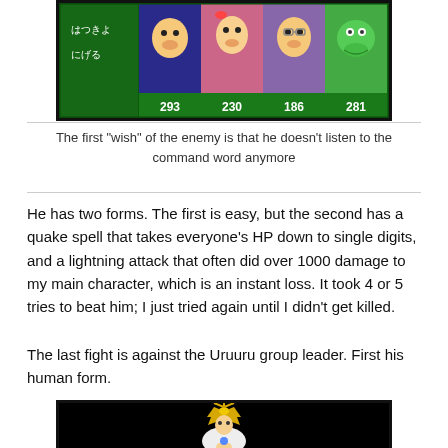[Figure (screenshot): Retro video game screenshot showing a battle menu in Japanese with character faces and HP values: 293, 230, 186, 281 on a green background]
The first “wish” of the enemy is that he doesn’t listen to the command word anymore
He has two forms. The first is easy, but the second has a quake spell that takes everyone’s HP down to single digits, and a lightning attack that often did over 1000 damage to my main character, which is an instant loss. It took 4 or 5 tries to beat him; I just tried again until I didn’t get killed.
The last fight is against the Uruuru group leader. First his human form.
[Figure (screenshot): Retro video game screenshot showing a character in white robes with a golden headdress on a black background]